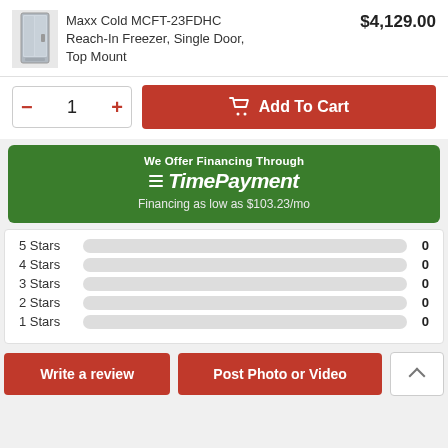[Figure (photo): Small product image of Maxx Cold MCFT-23FDHC Reach-In Freezer, stainless steel single door unit]
Maxx Cold MCFT-23FDHC Reach-In Freezer, Single Door, Top Mount
$4,129.00
- 1 + Add To Cart
We Offer Financing Through ≡TimePayment Financing as low as $103.23/mo
5 Stars  0
4 Stars  0
3 Stars  0
2 Stars  0
1 Stars  0
Write a review   Post Photo or Video